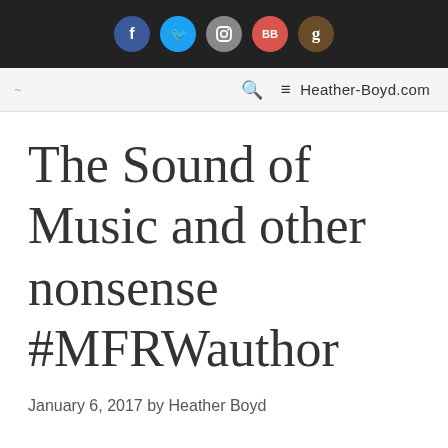[Figure (other): Dark top navigation bar with five social media icon circles: Facebook (blue, f), Twitter (light blue, bird), Instagram (gray, camera), BookBub (red, BB), Goodreads (brown, g)]
Heather-Boyd.com
The Sound of Music and other nonsense #MFRWauthor
January 6, 2017 by Heather Boyd